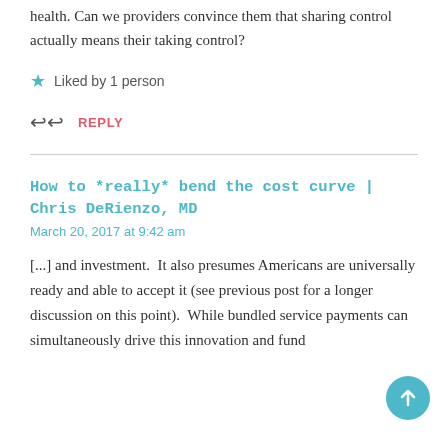health. Can we providers convince them that sharing control actually means their taking control?
Liked by 1 person
REPLY
How to *really* bend the cost curve | Chris DeRienzo, MD
March 20, 2017 at 9:42 am
[...] and investment.  It also presumes Americans are universally ready and able to accept it (see previous post for a longer discussion on this point).  While bundled service payments can simultaneously drive this innovation and fund